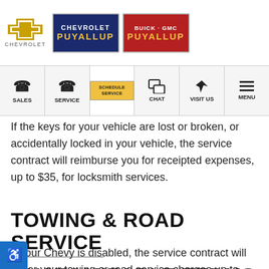Chevrolet Puyallup / Buick GMC Puyallup dealer logo and navigation header
If the keys for your vehicle are lost or broken, or accidentally locked in your vehicle, the service contract will reimburse you for receipted expenses, up to $35, for locksmith services.
TOWING & ROAD SERVICE
If your Chevy is disabled, the service contract will cover your towing or road service charges up to $150 per occurrence.
CUSTOMIZABLE TERMS